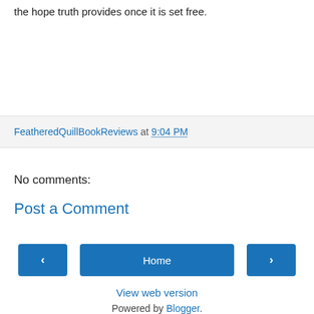the hope truth provides once it is set free.
FeatheredQuillBookReviews at 9:04 PM
No comments:
Post a Comment
Home
View web version
Powered by Blogger.